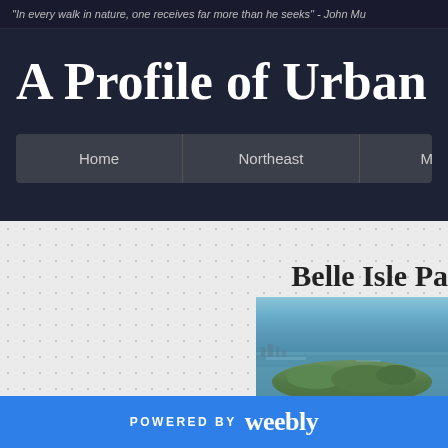"In every walk in nature, one receives far more than he seeks" - John Mu
A Profile of Urban Parks
Home | Northeast | Midwest | S
Belle Isle Pa
[Figure (photo): Aerial photograph of Belle Isle Park, showing a river/island with green land and blue water]
POWERED BY weebly